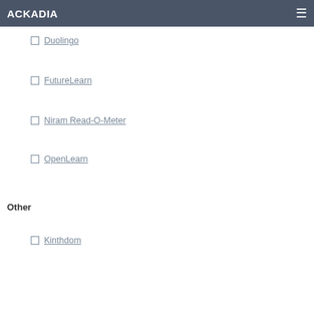ACKADIA
Duolingo
FutureLearn
Niram Read-O-Meter
OpenLearn
Other
Kinthdom